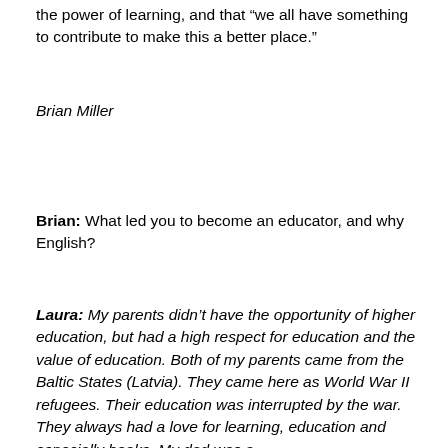the power of learning, and that “we all have something to contribute to make this a better place.”
Brian Miller
Brian: What led you to become an educator, and why English?
Laura: My parents didn’t have the opportunity of higher education, but had a high respect for education and the value of education. Both of my parents came from the Baltic States (Latvia). They came here as World War II refugees. Their education was interrupted by the war. They always had a love for learning, education and especially books. My dad was a